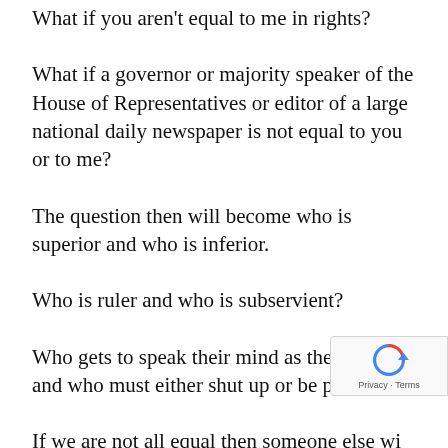What if you aren't equal to me in rights?
What if a governor or majority speaker of the House of Representatives or editor of a large national daily newspaper is not equal to you or to me?
The question then will become who is superior and who is inferior.
Who is ruler and who is subservient?
Who gets to speak their mind as they wish and who must either shut up or be punished?
If we are not all equal then someone else wi…